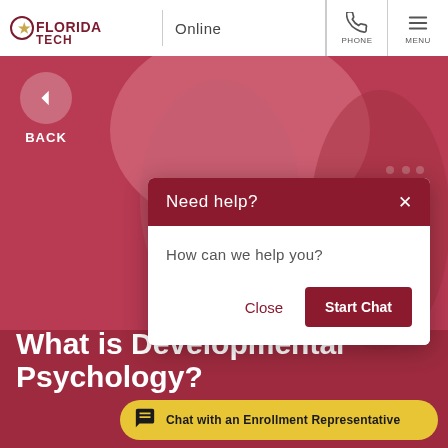[Figure (screenshot): Florida Tech Online university website screenshot showing a hero section with a child and adult interacting, overlaid with a red tint. A 'Need help?' chat dialog box is open. Navigation bar at top with Florida Tech logo and Online text, phone and menu icons. Back button visible. Main heading 'What is Developmental Psychology?' partially visible at bottom. Yellow chat bar at bottom.]
FLORIDA TECH | Online
BACK
Need help?
How can we help you?
Close
Start Chat
What is Developmental Psychology?
Chat with an Enrollment Representative